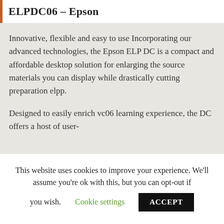ELPDC06 – Epson
Innovative, flexible and easy to use Incorporating our advanced technologies, the Epson ELP DC is a compact and affordable desktop solution for enlarging the source materials you can display while drastically cutting preparation elpp.
Designed to easily enrich vc06 learning experience, the DC offers a host of user-
This website uses cookies to improve your experience. We'll assume you're ok with this, but you can opt-out if you wish. Cookie settings ACCEPT